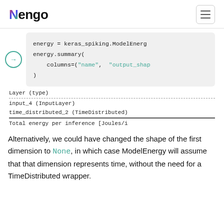Nengo
[Figure (screenshot): Code cell showing: energy = keras_spiking.ModelEnergy(...) energy.summary( columns=("name", "output_shape"...))]
Layer (type)
------------------------------------
input_4 (InputLayer)
time_distributed_2 (TimeDistributed)
====================================
Total energy per inference [Joules/i
Alternatively, we could have changed the shape of the first dimension to None, in which case ModelEnergy will assume that that dimension represents time, without the need for a TimeDistributed wrapper.